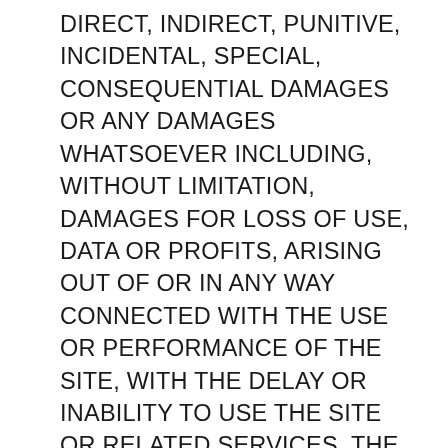DIRECT, INDIRECT, PUNITIVE, INCIDENTAL, SPECIAL, CONSEQUENTIAL DAMAGES OR ANY DAMAGES WHATSOEVER INCLUDING, WITHOUT LIMITATION, DAMAGES FOR LOSS OF USE, DATA OR PROFITS, ARISING OUT OF OR IN ANY WAY CONNECTED WITH THE USE OR PERFORMANCE OF THE SITE, WITH THE DELAY OR INABILITY TO USE THE SITE OR RELATED SERVICES, THE PROVISION OF OR FAILURE TO PROVIDE SERVICES, OR FOR ANY INFORMATION, SOFTWARE, PRODUCTS, SERVICES AND RELATED GRAPHICS OBTAINED